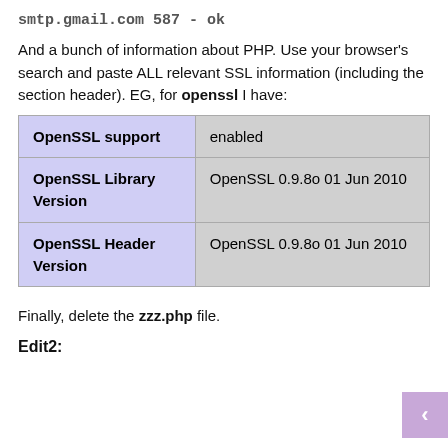smtp.gmail.com 587 - ok
And a bunch of information about PHP. Use your browser's search and paste ALL relevant SSL information (including the section header). EG, for openssl I have:
| OpenSSL support | enabled |
| OpenSSL Library Version | OpenSSL 0.9.8o 01 Jun 2010 |
| OpenSSL Header Version | OpenSSL 0.9.8o 01 Jun 2010 |
Finally, delete the zzz.php file.
Edit2: